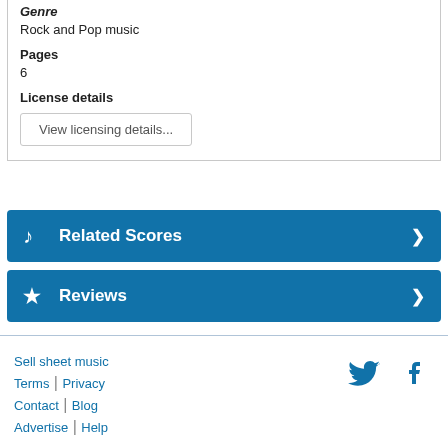Genre
Rock and Pop music
Pages
6
License details
View licensing details...
Related Scores
Reviews
Sell sheet music | Terms | Privacy | Contact | Blog | Advertise | Help